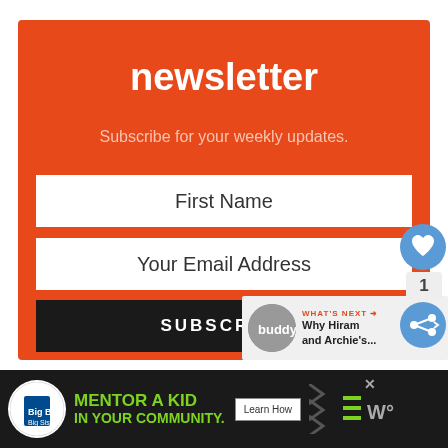newsletter
Subscribe for your weekly updates.
First Name
Your Email Address
SUBSCRIBE
[Figure (screenshot): Social UI overlays: like button (heart icon, blue circle), count badge '1', share button (blue circle with share icon), and 'WHAT'S NEXT' panel with buddy circle icon and text 'Why Hiram and Archie's...']
[Figure (infographic): Bottom advertisement strip: Big Brothers Big Sisters logo circle, green text 'MENTOR A KID IN YOUR COMMUNITY.', Learn How button, decorative chevrons, hamburger menu icon, weather icon showing W°]